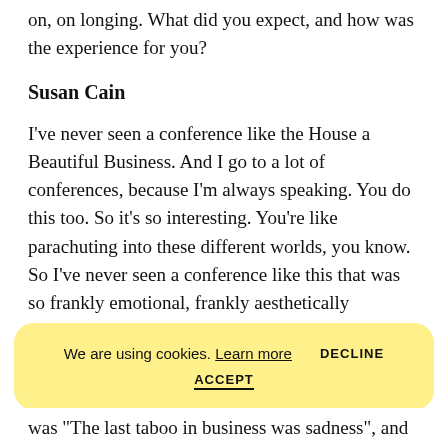on, on longing. What did you expect, and how was the experience for you?
Susan Cain
I've never seen a conference like the House a Beautiful Business. And I go to a lot of conferences, because I'm always speaking. You do this too. So it's so interesting. You're like parachuting into these different worlds, you know. So I've never seen a conference like this that was so frankly emotional, frankly aesthetically oriented, and where everything was lush and beautiful. You know, the way the different rooms and sessions were named. The language, the houses and the
was "The last taboo in business was sadness", and